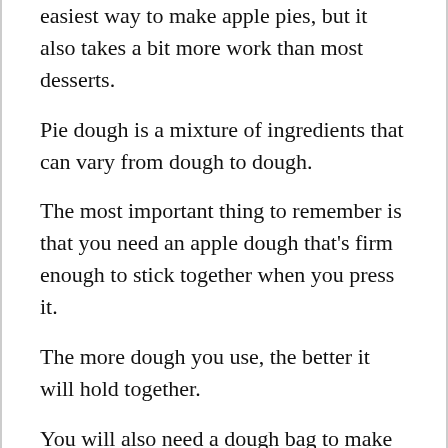easiest way to make apple pies, but it also takes a bit more work than most desserts.
Pie dough is a mixture of ingredients that can vary from dough to dough.
The most important thing to remember is that you need an apple dough that's firm enough to stick together when you press it.
The more dough you use, the better it will hold together.
You will also need a dough bag to make this dough, so that when you use it, it stays in place.7.
What Ingredients Do Apple Puffs Use?
Apple puffs have a wide variety of different